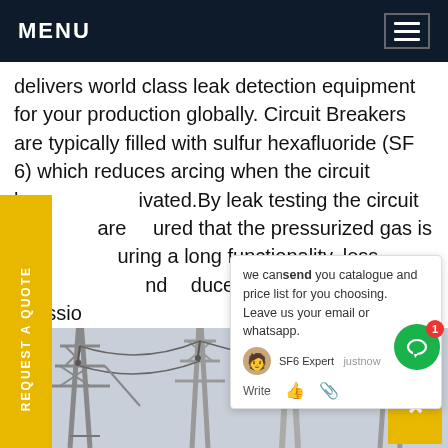MENU
delivers world class leak detection equipment for your production globally. Circuit Breakers are typically filled with sulfur hexafluoride (SF 6) which reduces arcing when the circuit breaker is activated.By leak testing the circuit breakers are assured that the pressurized gas is contained during a long functionality, less maintenance and reduced environmental emissions.
REQUEST A QUOTE
we can send you catalogue and price list for you choosing.
Leave us your email or whatsapp.
SF6 Expert   justnow
Write
[Figure (photo): Power transmission towers and electrical infrastructure against a gray sky]